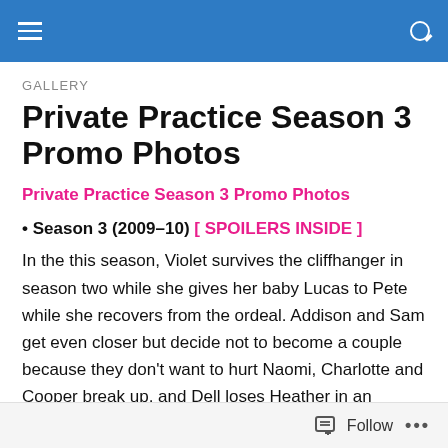GALLERY
Private Practice Season 3 Promo Photos
Private Practice Season 3 Promo Photos
• Season 3 (2009–10) [ SPOILERS INSIDE ]
In the this season, Violet survives the cliffhanger in season two while she gives her baby Lucas to Pete while she recovers from the ordeal. Addison and Sam get even closer but decide not to become a couple because they don't want to hurt Naomi, Charlotte and Cooper break up, and Dell loses Heather in an explosion which nearly kills Betsey
Follow ...